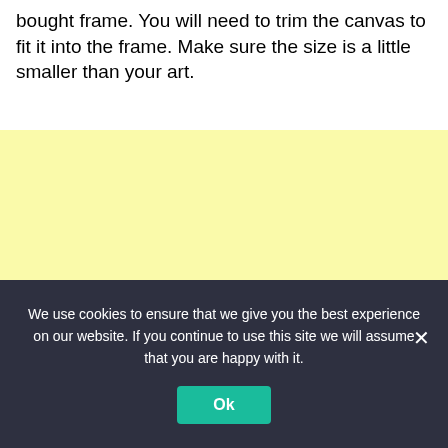bought frame. You will need to trim the canvas to fit it into the frame. Make sure the size is a little smaller than your art.
[Figure (other): Light yellow rectangular placeholder block]
We use cookies to ensure that we give you the best experience on our website. If you continue to use this site we will assume that you are happy with it.
Ok